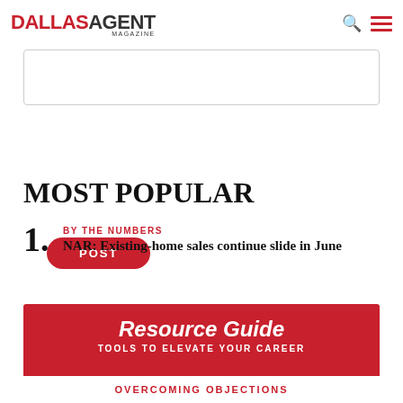DALLAS AGENT MAGAZINE
[Figure (other): Empty text input box for user comment]
POST
MOST POPULAR
BY THE NUMBERS
NAR: Existing-home sales continue slide in June
[Figure (infographic): Resource Guide banner: red background with white text. Title: Resource Guide. Subtitle: TOOLS TO ELEVATE YOUR CAREER. Below: white box with red text OVERCOMING OBJECTIONS]